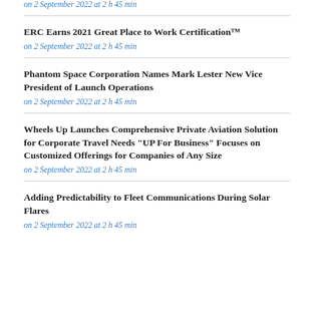on 2 September 2022 at 2 h 45 min
ERC Earns 2021 Great Place to Work Certification™
on 2 September 2022 at 2 h 45 min
Phantom Space Corporation Names Mark Lester New Vice President of Launch Operations
on 2 September 2022 at 2 h 45 min
Wheels Up Launches Comprehensive Private Aviation Solution for Corporate Travel Needs "UP For Business" Focuses on Customized Offerings for Companies of Any Size
on 2 September 2022 at 2 h 45 min
Adding Predictability to Fleet Communications During Solar Flares
on 2 September 2022 at 2 h 45 min